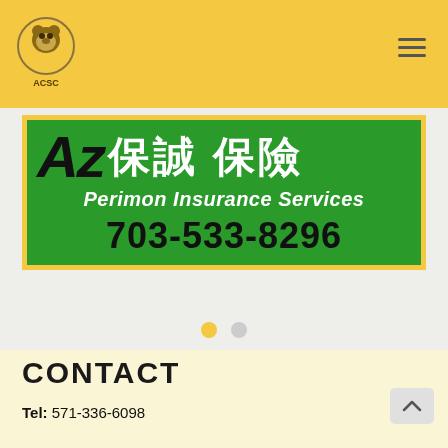[Figure (logo): ACSC organization logo circle with animal figure inside]
[Figure (photo): Az 保誠保險 Perimon Insurance Services banner advertisement on green background with phone number 703-533-8296]
CONTACT
Tel: 571-336-6098